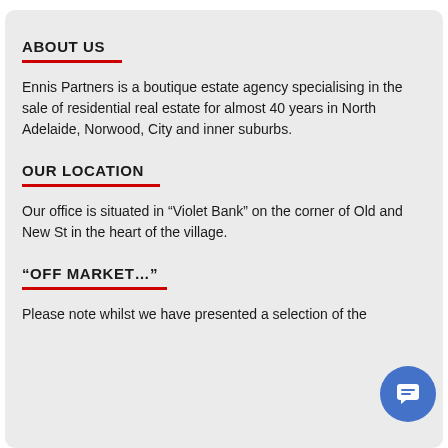ABOUT US
Ennis Partners is a boutique estate agency specialising in the sale of residential real estate for almost 40 years in North Adelaide, Norwood, City and inner suburbs.
OUR LOCATION
Our office is situated in “Violet Bank” on the corner of Old and New St in the heart of the village.
“OFF MARKET…”
Please note whilst we have presented a selection of the